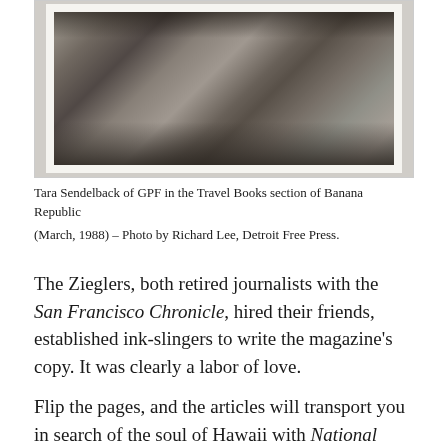[Figure (photo): Black and white photograph of Tara Sendelback of GPF in the Travel Books section of Banana Republic, March 1988, showing a bookstore interior with shelves and displays.]
Tara Sendelback of GPF in the Travel Books section of Banana Republic (March, 1988) – Photo by Richard Lee, Detroit Free Press.
The Zieglers, both retired journalists with the San Francisco Chronicle, hired their friends, established ink-slingers to write the magazine's copy. It was clearly a labor of love.
Flip the pages, and the articles will transport you in search of the soul of Hawaii with National Geographic